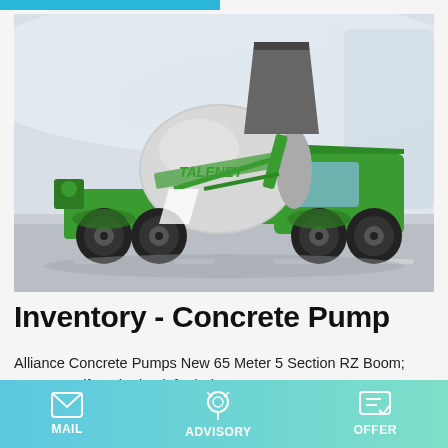[Figure (photo): Green Talenet self-loading concrete mixer truck on a road with modern building background]
Inventory - Concrete Pump
Alliance Concrete Pumps New 65 Meter 5 Section RZ Boom; Pat yourself on the back for being a savvy Concrete Pump shopper Uncategorized; Meta. Log in; Entries feed; Comments
MAIL   ADVISORY   OFFER